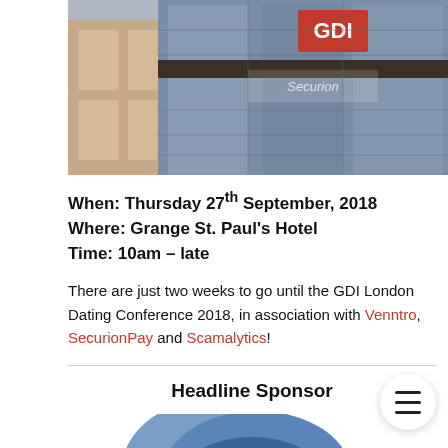[Figure (photo): Exterior photo of Grange St. Paul's Hotel building with GDI and Securion branding/signage visible on glass facade]
When: Thursday 27th September, 2018
Where: Grange St. Paul's Hotel
Time: 10am – late
There are just two weeks to go until the GDI London Dating Conference 2018, in association with Venntro, SecurionPay and Scamalytics!
Headline Sponsor
[Figure (logo): Venntro logo — overlapping blue circles/cloud shape]